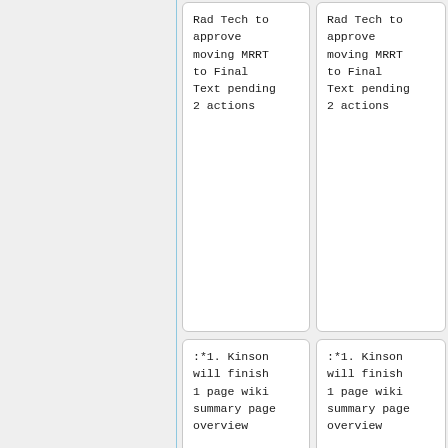Rad Tech to approve moving MRRT to Final Text pending 2 actions
Rad Tech to approve moving MRRT to Final Text pending 2 actions
:*1. Kinson will finish 1 page wiki summary page overview
:*1. Kinson will finish 1 page wiki summary page overview
:*2. Kinson will complete open issues in the supplement or create additional CPs
:*2. Kinson will complete open issues in the supplement or create additional CPs